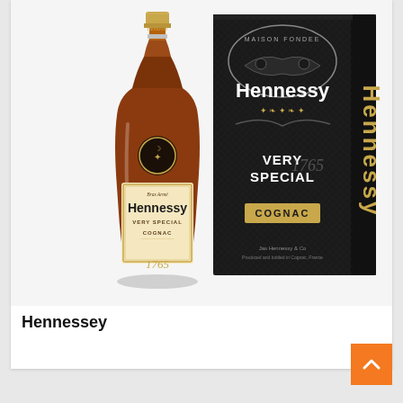[Figure (photo): Product photo showing a bottle of Hennessy Very Special Cognac next to its black gift box packaging. The bottle has a gold cap, amber-colored cognac, and a cream-colored label reading 'Hennessy Very Special Cognac'. The black box features gold lettering with 'Hennessy', 'VERY SPECIAL', 'COGNAC', and decorative elements including a masquerade mask design and 'MAISON FONDEE' text at the top.]
Hennessey